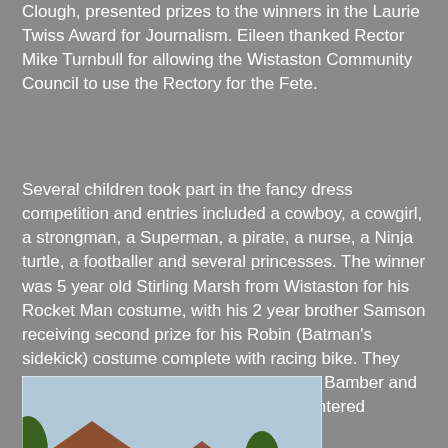Clough, presented prizes to the winners in the Laurie Twiss Award for Journalism. Eileen thanked Rector Mike Turnbull for allowing the Wistaston Community Council to use the Rectory for the Fete.
Several children took part in the fancy dress competition and entries included a cowboy, a cowgirl, a strongman, a Superman, a pirate, a nurse, a Ninja turtle, a footballer and several princesses. The winner was 5 year old Stirling Marsh from Wistaston for his Rocket Man costume, with his 2 year brother Samson receiving second prize for his Robin (Batman's sidekick) costume complete with racing bike. They received their prizes from judges Eileen Bamber and Laurie Clough. All of the children who entered received a bag of sweets.
[Figure (photo): Outdoor community fete photo showing performers in pink and black costumes doing acrobatics/cheerleading in front of a crowd, with houses and trees visible in the background]